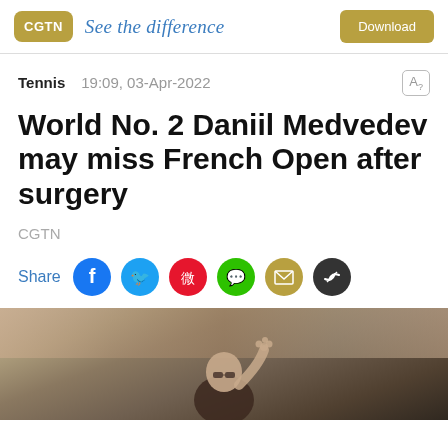CGTN — See the difference — Download
Tennis  19:09, 03-Apr-2022
World No. 2 Daniil Medvedev may miss French Open after surgery
CGTN
Share
[Figure (photo): Tennis player (Daniil Medvedev) photographed with crowd in background at an outdoor tennis venue]